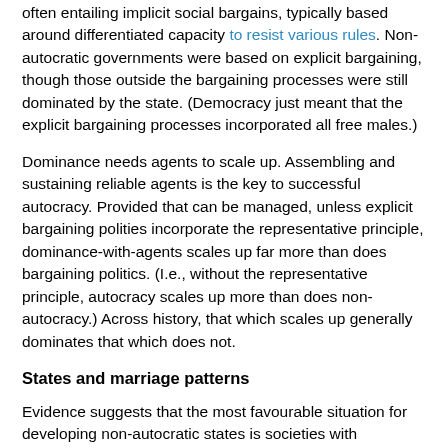often entailing implicit social bargains, typically based around differentiated capacity to resist various rules. Non-autocratic governments were based on explicit bargaining, though those outside the bargaining processes were still dominated by the state. (Democracy just meant that the explicit bargaining processes incorporated all free males.)
Dominance needs agents to scale up. Assembling and sustaining reliable agents is the key to successful autocracy. Provided that can be managed, unless explicit bargaining polities incorporate the representative principle, dominance-with-agents scales up far more than does bargaining politics. (I.e., without the representative principle, autocracy scales up more than does non-autocracy.) Across history, that which scales up generally dominates that which does not.
States and marriage patterns
Evidence suggests that the most favourable situation for developing non-autocratic states is societies with nuclear/conjugal families and where elite marriages are monogamous. A possible factor in generating this pattern is that polygyny leads to father-absent child-raising, which